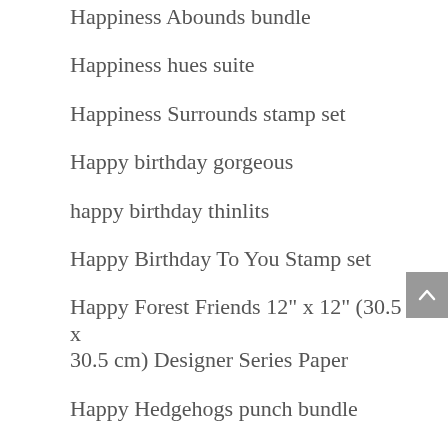Happiness Abounds bundle
Happiness hues suite
Happiness Surrounds stamp set
Happy birthday gorgeous
happy birthday thinlits
Happy Birthday To You Stamp set
Happy Forest Friends 12" x 12" (30.5 x 30.5 cm) Designer Series Paper
Happy Hedgehogs punch bundle
Happy hedgehogs stamp set